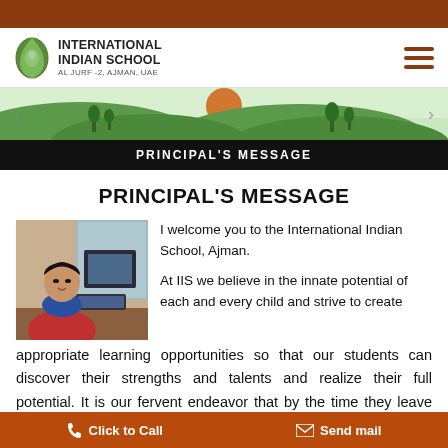INTERNATIONAL INDIAN SCHOOL — AL JURF -2, AJMAN, UAE
[Figure (illustration): School website banner with landscape illustration — green hills, trees, orange sun]
PRINCIPAL'S MESSAGE
PRINCIPAL'S MESSAGE
[Figure (photo): Photo of the school principal seated at a desk with a laptop, wearing a red top and blue scarf]
I welcome you to the International Indian School, Ajman.

At IIS we believe in the innate potential of each and every child and strive to create appropriate learning opportunities so that our students can discover their strengths and talents and realize their full potential. It is our fervent endeavor that by the time they leave the school they are ready and empowered to be global citizens with specific skills sets to meet the challenges of the
Click to Call    Send mail